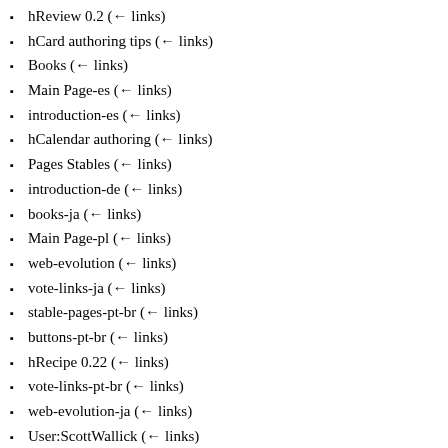hReview 0.2  (← links)
hCard authoring tips  (← links)
Books  (← links)
Main Page-es  (← links)
introduction-es  (← links)
hCalendar authoring  (← links)
Pages Stables  (← links)
introduction-de  (← links)
books-ja  (← links)
Main Page-pl  (← links)
web-evolution  (← links)
vote-links-ja  (← links)
stable-pages-pt-br  (← links)
buttons-pt-br  (← links)
hRecipe 0.22  (← links)
vote-links-pt-br  (← links)
web-evolution-ja  (← links)
User:ScottWallick  (← links)
hProduct  (← links)
hAudio 0.9.1  (← links)
Main Page-ro  (← links)
Main Page-zh  (← links)
Main Page-cs  (← links)
Main Page-ar  (← links)
User:PJKix  (← links)